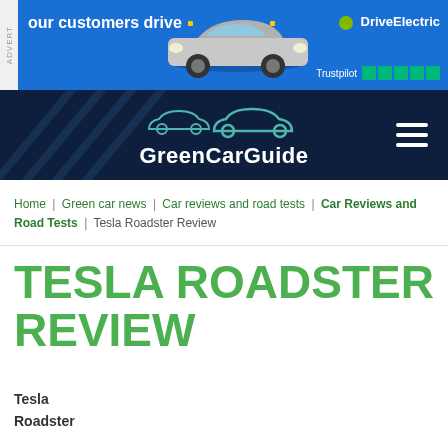[Figure (screenshot): Advertisement banner for DriveElectric showing a MINI electric car on a blue background with Trustpilot 5-star rating]
[Figure (logo): GreenCarGuide website navigation header with car silhouette logo on dark navy background]
Home | Green car news | Car reviews and road tests | Car Reviews and Road Tests | Tesla Roadster Review
TESLA ROADSTER REVIEW
Tesla
Roadster